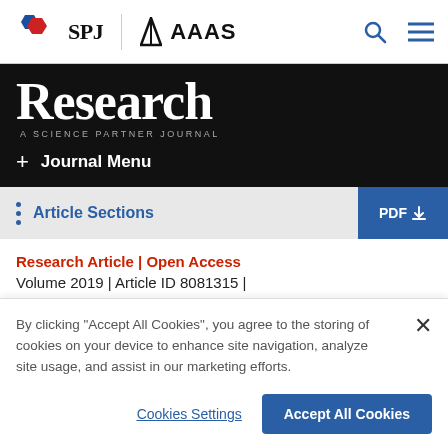[Figure (logo): SPJ and AAAS logos with search and menu icons in top navigation bar]
Research
A SCIENCE PARTNER JOURNAL
+ Journal Menu
Article Sections  PDF
Research Article | Open Access
Volume 2019 | Article ID 8081315 |
By clicking "Accept All Cookies", you agree to the storing of cookies on your device to enhance site navigation, analyze site usage, and assist in our marketing efforts.
Cookies Settings    Accept All Cookies